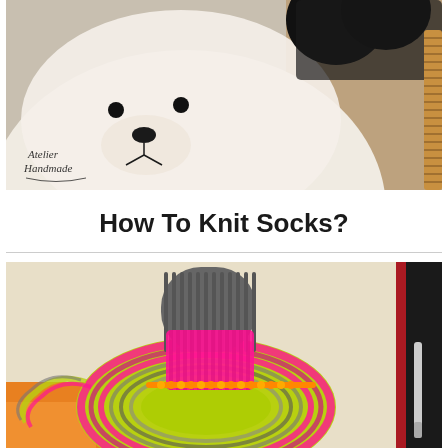[Figure (photo): Close-up photo of a knitted stuffed animal toy (bear/panda) lying on a surface with a spiral-bound item visible on the right. A cursive watermark/logo reading 'Atelier Handmade' appears in the lower left corner.]
How To Knit Socks?
[Figure (photo): Photo of a partially knitted sock in progress placed on top of a colorful skein of yarn. The yarn and sock feature bright colors including neon yellow-green, hot pink, and gray. Knitting needles with orange beads are visible.]